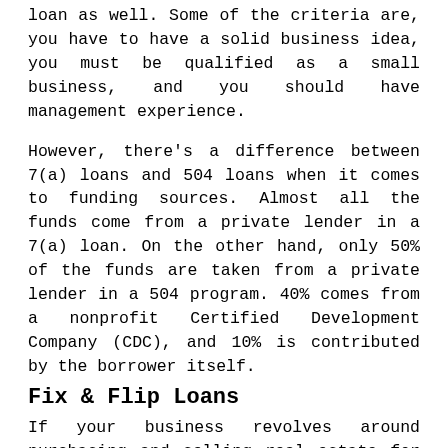loan as well. Some of the criteria are, you have to have a solid business idea, you must be qualified as a small business, and you should have management experience.
However, there's a difference between 7(a) loans and 504 loans when it comes to funding sources. Almost all the funds come from a private lender in a 7(a) loan. On the other hand, only 50% of the funds are taken from a private lender in a 504 program. 40% comes from a nonprofit Certified Development Company (CDC), and 10% is contributed by the borrower itself.
Fix & Flip Loans
If your business revolves around purchasing and selling real estate for a profit, fix & flip loans might be a